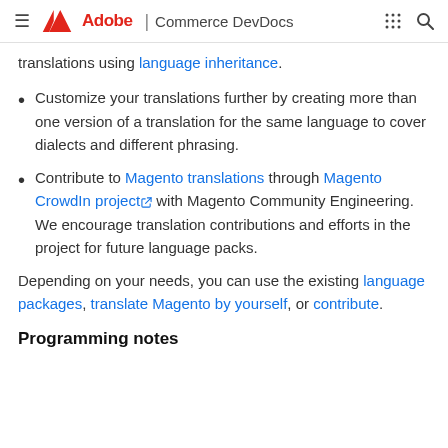≡  Adobe | Commerce DevDocs  ⋮⋮⋮  🔍
translations using language inheritance.
Customize your translations further by creating more than one version of a translation for the same language to cover dialects and different phrasing.
Contribute to Magento translations through Magento CrowdIn project [external] with Magento Community Engineering. We encourage translation contributions and efforts in the project for future language packs.
Depending on your needs, you can use the existing language packages, translate Magento by yourself, or contribute.
Programming notes